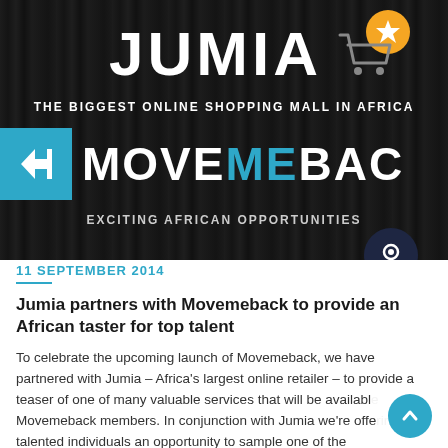[Figure (logo): Jumia and Movemeback promotional banner on dark wood-textured background. Shows JUMIA logo with shopping cart icon, tagline 'THE BIGGEST ONLINE SHOPPING MALL IN AFRICA', MOVEMEBACK logo with blue arrow icon, and tagline 'EXCITING AFRICAN OPPORTUNITIES'.]
11 SEPTEMBER 2014
Jumia partners with Movemeback to provide an African taster for top talent
To celebrate the upcoming launch of Movemeback, we have partnered with Jumia – Africa's largest online retailer – to provide a teaser of one of many valuable services that will be available Movemeback members. In conjunction with Jumia we're offe talented individuals an opportunity to sample one of the